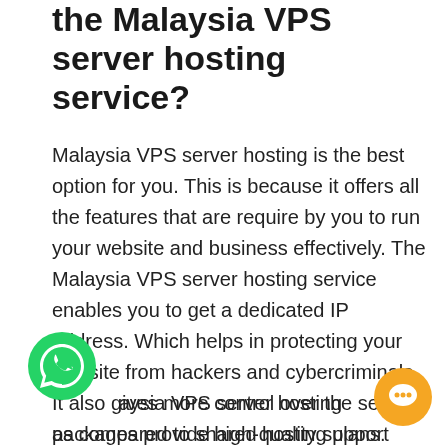the Malaysia VPS server hosting service?
Malaysia VPS server hosting is the best option for you. This is because it offers all the features that are require by you to run your website and business effectively. The Malaysia VPS server hosting service enables you to get a dedicated IP address. Which helps in protecting your website from hackers and cybercriminals. It also gives more control over the servers as compared to shared hosting plans.
Malaysia VPS server hosting packages provide high-quality support 24/7 so that we can resolve any issue whenever it comes up